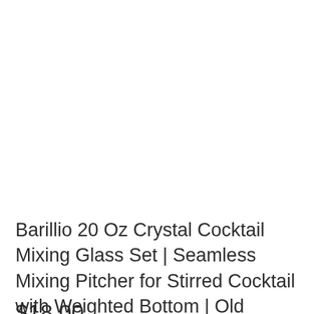Barillio 20 Oz Crystal Cocktail Mixing Glass Set | Seamless Mixing Pitcher for Stirred Cocktail with Weighted Bottom | Old Fashioned Kit for Bartenders
$18.00